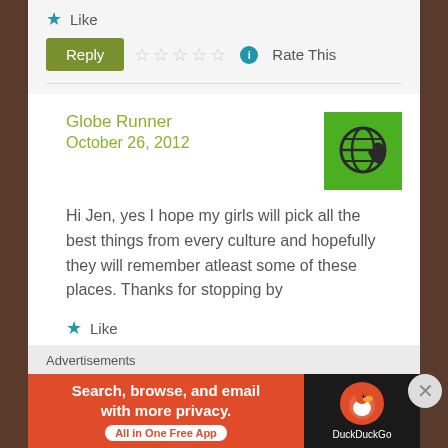★ Like
Reply ☆☆☆☆☆ ℹ Rate This
Globe Runner
October 26, 2012
Hi Jen, yes I hope my girls will pick all the best things from every culture and hopefully they will remember atleast some of these places. Thanks for stopping by
★ Like
Reply ☆☆☆☆☆ ℹ Rate This
Advertisements
[Figure (screenshot): DuckDuckGo advertisement banner: orange section with text 'Search, browse, and email with more privacy. All in One Free App' and dark section with DuckDuckGo duck logo and brand name.]